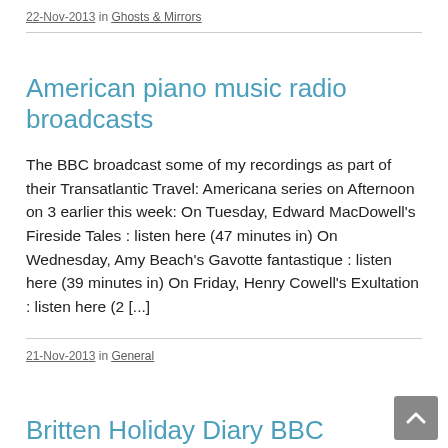22-Nov-2013 in Ghosts & Mirrors
American piano music radio broadcasts
The BBC broadcast some of my recordings as part of their Transatlantic Travel: Americana series on Afternoon on 3 earlier this week: On Tuesday, Edward MacDowell's Fireside Tales : listen here (47 minutes in) On Wednesday, Amy Beach's Gavotte fantastique : listen here (39 minutes in) On Friday, Henry Cowell's Exultation : listen here (2 [...]
21-Nov-2013 in General
Britten Holiday Diary BBC broadcast